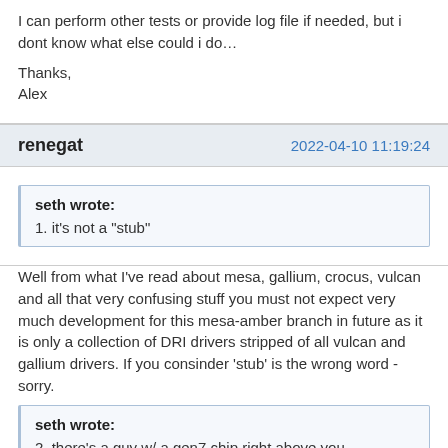I can perform other tests or provide log file if needed, but i dont know what else could i do…

Thanks,
Alex
renegat    2022-04-10 11:19:24
seth wrote:
1. it's not a "stub"
Well from what I've read about mesa, gallium, crocus, vulcan and all that very confusing stuff you must not expect very much development for this mesa-amber branch in future as it is only a collection of DRI drivers stripped of all vulcan and gallium drivers. If you consinder 'stub' is the wrong word - sorry.
seth wrote:
2. there's a guy w/ a gen7 chip right above you …
I'am totally confused about Intels 'gen'-numbering. Seems like CPUs,